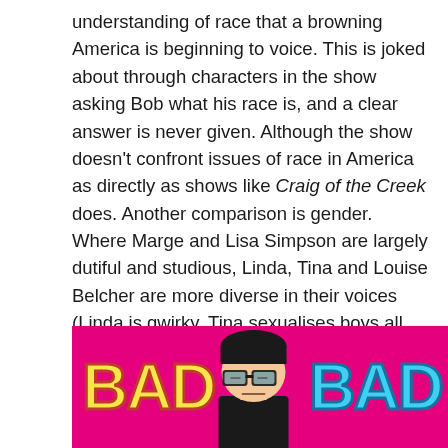understanding of race that a browning America is beginning to voice. This is joked about through characters in the show asking Bob what his race is, and a clear answer is never given. Although the show doesn't confront issues of race in America as directly as shows like Craig of the Creek does. Another comparison is gender. Where Marge and Lisa Simpson are largely dutiful and studious, Linda, Tina and Louise Belcher are more diverse in their voices (Linda is qwirky, Tina sexualises boys all the time and Louise is a badass). Gene Belcher is often shown to be sensitive and creative, compare this to Bart Simpson's bratty boy stereotype. To say Bob's Burgers is avant garde in confronting gender and race would be an overreach, to me these shows are always made to appeal to large audiences.
[Figure (illustration): Colorful banner image with hot pink background showing the text 'BAD' in yellow on the left and 'BAD' in blue on the right, with a cartoon character (Tina from Bob's Burgers) in the center, partially cropped at the bottom of the page.]